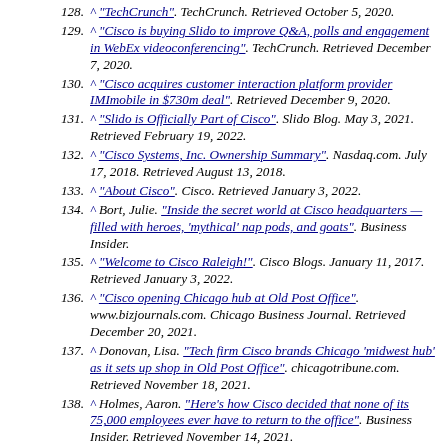128. ^ "TechCrunch". TechCrunch. Retrieved October 5, 2020.
129. ^ "Cisco is buying Slido to improve Q&A, polls and engagement in WebEx videoconferencing". TechCrunch. Retrieved December 7, 2020.
130. ^ "Cisco acquires customer interaction platform provider IMImobile in $730m deal". Retrieved December 9, 2020.
131. ^ "Slido is Officially Part of Cisco". Slido Blog. May 3, 2021. Retrieved February 19, 2022.
132. ^ "Cisco Systems, Inc. Ownership Summary". Nasdaq.com. July 17, 2018. Retrieved August 13, 2018.
133. ^ "About Cisco". Cisco. Retrieved January 3, 2022.
134. ^ Bort, Julie. "Inside the secret world at Cisco headquarters — filled with heroes, 'mythical' nap pods, and goats". Business Insider.
135. ^ "Welcome to Cisco Raleigh!". Cisco Blogs. January 11, 2017. Retrieved January 3, 2022.
136. ^ "Cisco opening Chicago hub at Old Post Office". www.bizjournals.com. Chicago Business Journal. Retrieved December 20, 2021.
137. ^ Donovan, Lisa. "Tech firm Cisco brands Chicago 'midwest hub' as it sets up shop in Old Post Office". chicagotribune.com. Retrieved November 18, 2021.
138. ^ Holmes, Aaron. "Here's how Cisco decided that none of its 75,000 employees ever have to return to the office". Business Insider. Retrieved November 14, 2021.